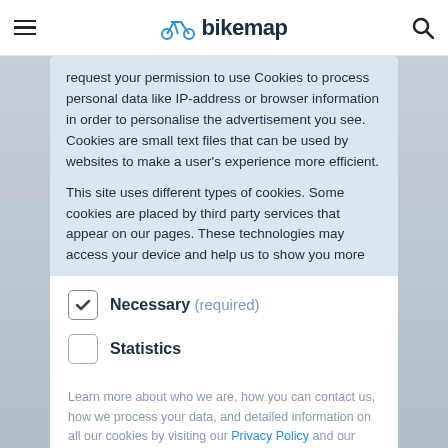bikemap
request your permission to use Cookies to process personal data like IP-address or browser information in order to personalise the advertisement you see. Cookies are small text files that can be used by websites to make a user's experience more efficient.

This site uses different types of cookies. Some cookies are placed by third party services that appear on our pages. These technologies may access your device and help us to show you more
Necessary (required)
Statistics
Learn more about who we are, how you can contact us, how we process your data, and detailed information on all our cookies by visiting our Privacy Policy and our Cookie Declaration.